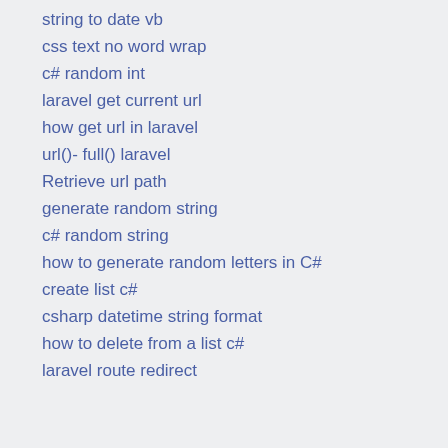string to date vb
css text no word wrap
c# random int
laravel get current url
how get url in laravel
url()- full() laravel
Retrieve url path
generate random string
c# random string
how to generate random letters in C#
create list c#
csharp datetime string format
how to delete from a list c#
laravel route redirect